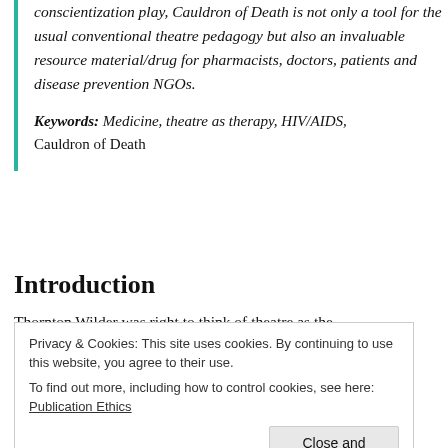conscientization play, Cauldron of Death is not only a tool for the usual conventional theatre pedagogy but also an invaluable resource material/drug for pharmacists, doctors, patients and disease prevention NGOs.
Keywords: Medicine, theatre as therapy, HIV/AIDS, Cauldron of Death
Introduction
Thornton Wilder was right to think of theatre as the
Privacy & Cookies: This site uses cookies. By continuing to use this website, you agree to their use.
To find out more, including how to control cookies, see here: Publication Ethics
Close and accept
...py, wright useful in all generations as they impact the emotions of their experiences...